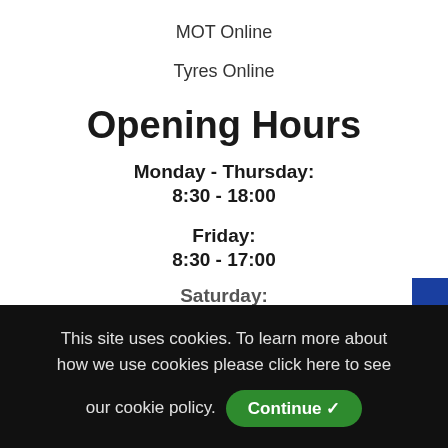MOT Online
Tyres Online
Opening Hours
Monday - Thursday:
8:30 - 18:00
Friday:
8:30 - 17:00
Saturday:
This site uses cookies. To learn more about how we use cookies please click here to see our cookie policy. Continue ✓